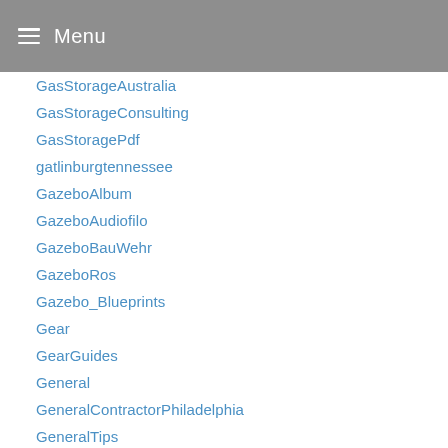Menu
GasStorageAustralia
GasStorageConsulting
GasStoragePdf
gatlinburgtennessee
GazeboAlbum
GazeboAudiofilo
GazeboBauWehr
GazeboRos
Gazebo_Blueprints
Gear
GearGuides
General
GeneralContractorPhiladelphia
GeneralTips
geodeart
Georgia
getNEAT